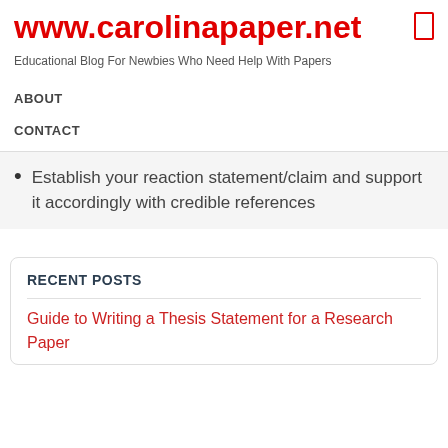www.carolinapaper.net
Educational Blog For Newbies Who Need Help With Papers
ABOUT
CONTACT
Establish your reaction statement/claim and support it accordingly with credible references
RECENT POSTS
Guide to Writing a Thesis Statement for a Research Paper